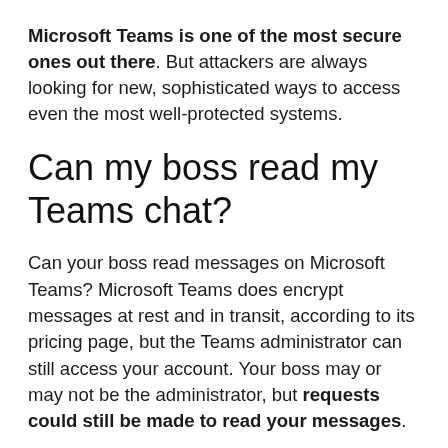Microsoft Teams is one of the most secure ones out there. But attackers are always looking for new, sophisticated ways to access even the most well-protected systems.
Can my boss read my Teams chat?
Can your boss read messages on Microsoft Teams? Microsoft Teams does encrypt messages at rest and in transit, according to its pricing page, but the Teams administrator can still access your account. Your boss may or may not be the administrator, but requests could still be made to read your messages.